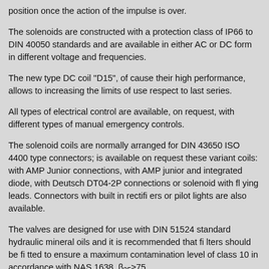position once the action of the impulse is over.
The solenoids are constructed with a protection class of IP66 to DIN 40050 standards and are available in either AC or DC form in different voltage and frequencies.
The new type DC coil "D15", of cause their high performance, allows to increasing the limits of use respect to last series.
All types of electrical control are available, on request, with different types of manual emergency controls.
The solenoid coils are normally arranged for DIN 43650 ISO 4400 type connectors; is available on request these variant coils: with AMP Junior connections, with AMP junior and integrated diode, with Deutsch DT04-2P connections or solenoid with fl ying leads. Connectors with built in rectifi ers or pilot lights are also available.
The valves are designed for use with DIN 51524 standard hydraulic mineral oils and it is recommended that fi lters should be fi tted to ensure a maximum contamination level of class 10 in accordance with NAS 1638, β25≥75.